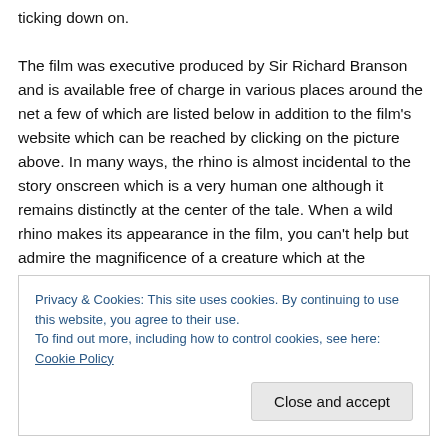ticking down on.

The film was executive produced by Sir Richard Branson and is available free of charge in various places around the net a few of which are listed below in addition to the film's website which can be reached by clicking on the picture above. In many ways, the rhino is almost incidental to the story onscreen which is a very human one although it remains distinctly at the center of the tale. When a wild rhino makes its appearance in the film, you can't help but admire the magnificence of a creature which at the
Privacy & Cookies: This site uses cookies. By continuing to use this website, you agree to their use.
To find out more, including how to control cookies, see here: Cookie Policy
Close and accept